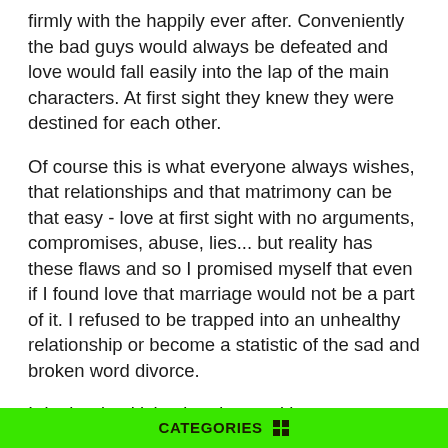firmly with the happily ever after. Conveniently the bad guys would always be defeated and love would fall easily into the lap of the main characters. At first sight they knew they were destined for each other.
Of course this is what everyone always wishes, that relationships and that matrimony can be that easy - love at first sight with no arguments, compromises, abuse, lies... but reality has these flaws and so I promised myself that even if I found love that marriage would not be a part of it. I refused to be trapped into an unhealthy relationship or become a statistic of the sad and broken word divorce.
I doubted, criticized and cursed love continuously but I was never bitter until I experienced and lost it, a feeling so sweet and delicate - utterly incomparable. Love is like an incredible smell or taste. Why does freshly cut grass smell so good? Why does chocolate melting in your mouth release a soft, orgasmic feeling down your throat? When these sensations
CATEGORIES